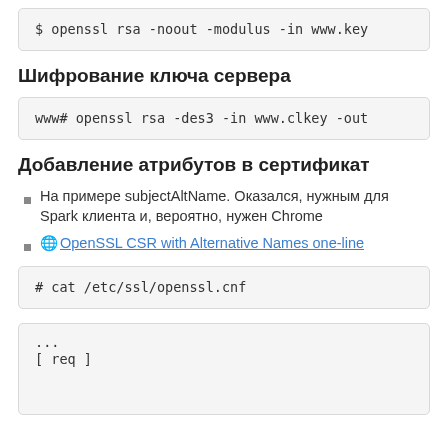$ openssl rsa -noout -modulus -in www.key
Шифрование ключа сервера
www# openssl rsa -des3 -in www.clkey -out
Добавление атрибутов в сертификат
На примере subjectAltName. Оказался, нужным для Spark клиента и, вероятно, нужен Chrome
🌐 OpenSSL CSR with Alternative Names one-line
# cat /etc/ssl/openssl.cnf
...
[ req ]